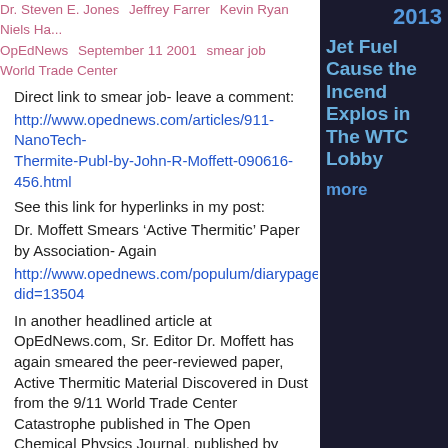Dr. Steven E. Jones   Jeffrey Farrer   Kevin Ryan   Niels Ha...   OpEdNews   September 11 2001   smear job   World Trade Center
Direct link to smear job- leave a comment:
http://www.opednews.com/articles/911-NanoTech-Thermite-Publ-by-John-R-Moffett-090616-456.html
See this link for hyperlinks in my post:
Dr. Moffett Smears ‘Active Thermitic’ Paper by Association- Again
http://www.opednews.com/populum/diarypage.php?did=13504
In another headlined article at OpEdNews.com, Sr. Editor Dr. Moffett has again smeared the peer-reviewed paper, Active Thermitic Material Discovered in Dust from the 9/11 World Trade Center Catastrophe published in The Open Chemical Physics Journal, published by Bentham.org. A different Bentham.org journal, The Open Information Science Journal, recently published a hoax paper, and 2 editors resigned: Open Access Publisher Accepts Nonsense Manuscript for Dollars. See Dr. Moffett’s previous smear job rebutted by Dr. Michael Green, here: Pardon Our Dust, or, Why the World Trade Center Dust Matters. See Dr. Moffett’s current smear job here: 911 NanoTech Thermite Publisher Accepts Fake Paper, Editors quit
I find some areas of agreement with Dr. Moffet; for instance, he says: "The only way to find out what...